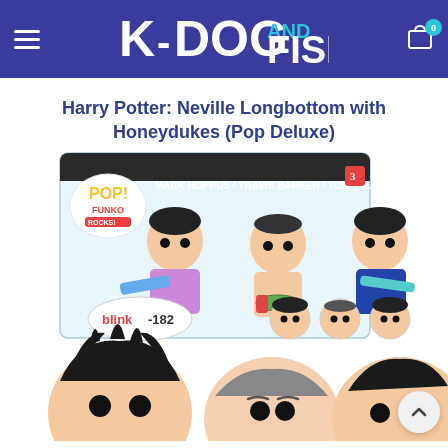K-DOG AND FISH
Harry Potter: Neville Longbottom with Honeydukes (Pop Deluxe)
[Figure (photo): Funko Pop Deluxe 3-pack box set of blink-182 band members (Mark Hoppus, Travis Barker, Tom DeLonge) in their Funko Pop figures style, with the box showing the band logo. Below the box are close-up views of three Funko Pop character heads.]